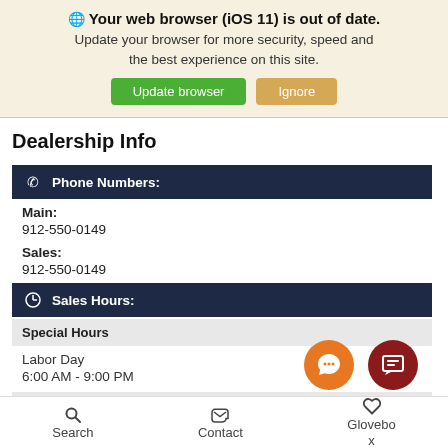🌐 Your web browser (iOS 11) is out of date. Update your browser for more security, speed and the best experience on this site. Update browser  Ignore
Dealership Info
Phone Numbers:
Main:
912-550-0149
Sales:
912-550-0149
Sales Hours:
Special Hours
Labor Day
6:00 AM - 9:00 PM
Regular Hours
Search  Contact  Glovebox